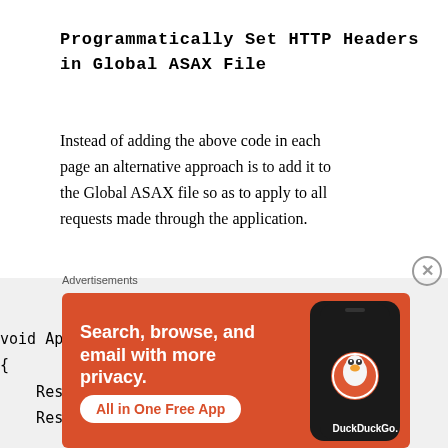Programmatically Set HTTP Headers in Global ASAX File
Instead of adding the above code in each page an alternative approach is to add it to the Global ASAX file so as to apply to all requests made through the application.
void Application_BeginRequest(object s
{
    Response.Cache.SetCacheability
    Response.Cache.SetExpires(Date
Advertisements
[Figure (infographic): DuckDuckGo advertisement banner on orange background with text 'Search, browse, and email with more privacy. All in One Free App' and phone image with DuckDuckGo logo]